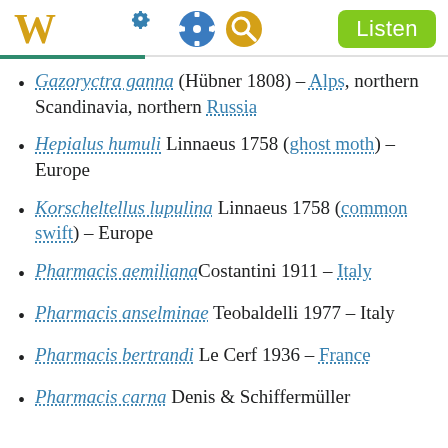W [Wikipedia logo] [gear icon] [search icon] Listen
Gazoryctra ganna (Hübner 1808) – Alps, northern Scandinavia, northern Russia
Hepialus humuli Linnaeus 1758 (ghost moth) – Europe
Korscheltellus lupulina Linnaeus 1758 (common swift) – Europe
Pharmacis aemiliana Costantini 1911 – Italy
Pharmacis anselminae Teobaldelli 1977 – Italy
Pharmacis bertrandi Le Cerf 1936 – France
Pharmacis carna Denis & Schiffermüller...